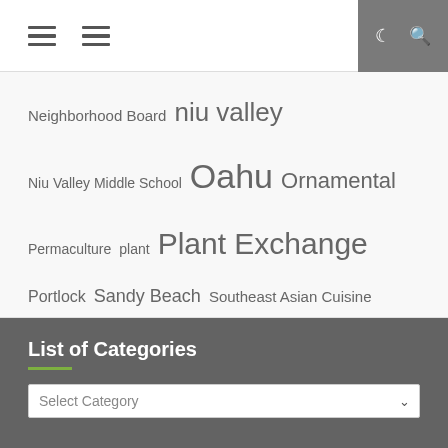[Figure (other): Navigation bar with two hamburger menu icons on the left and dark grey panel with moon/search icons on the right]
Neighborhood Board  niu valley  Niu Valley Middle School  Oahu  Ornamental  Permaculture  plant  Plant Exchange  Portlock  Sandy Beach  Southeast Asian Cuisine  Sustainability  traffic  vegetable  vegetables
List of Categories
Select Category